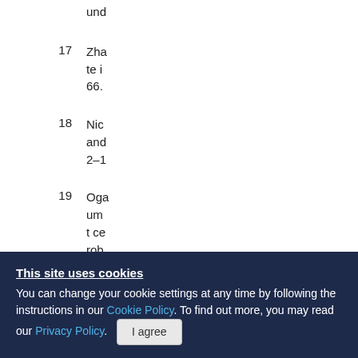und
17   Zha... te i... 66.
18   Nic... and... 2–1
19   Oga... um... t ce... rob
This site uses cookies
You can change your cookie settings at any time by following the instructions in our Cookie Policy. To find out more, you may read our Privacy Policy.